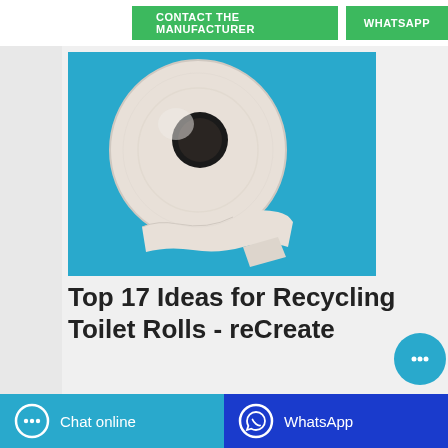[Figure (other): Two green buttons: 'CONTACT THE MANUFACTURER' and 'WHATSAPP']
[Figure (photo): A roll of toilet paper on a bright blue background, with the paper trailing off the roll.]
Top 17 Ideas for Recycling Toilet Rolls - reCreate
[Figure (other): Bottom bar with 'Chat online' (light blue) and 'WhatsApp' (dark blue) buttons, and a floating chat bubble icon.]